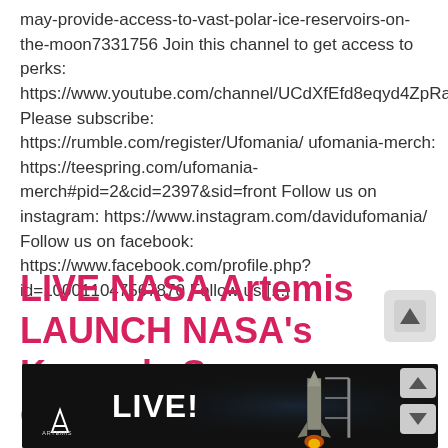may-provide-access-to-vast-polar-ice-reservoirs-on-the-moon7331756 Join this channel to get access to perks: https://www.youtube.com/channel/UCdXfEfd8eqyd4ZpRaxLw Please subscribe: https://rumble.com/register/Ufomania/ ufomania-merch: https://teespring.com/ufomania-merch#pid=2&cid=2397&sid=front Follow us on instagram: https://www.instagram.com/davidufomania/ Follow us on facebook: https://www.facebook.com/profile.php?id=100011047567870 Follow us [...]
LIVE NASA Artemis LAUNCH NASA's Kennedy Space Center in Florida
[Figure (screenshot): Video thumbnail showing a NASA Artemis rocket launch with LIVE! text overlay on a dark background, with the Artemis logo in the bottom left corner.]